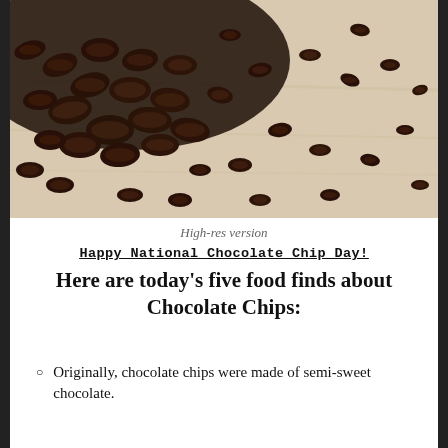[Figure (photo): Photo of chocolate chips scattered on a light wood surface, pile of dark chocolate chips on the left with individual chips spread to the right]
High-res version
Happy National Chocolate Chip Day!
Here are today’s five food finds about Chocolate Chips:
Originally, chocolate chips were made of semi-sweet chocolate.